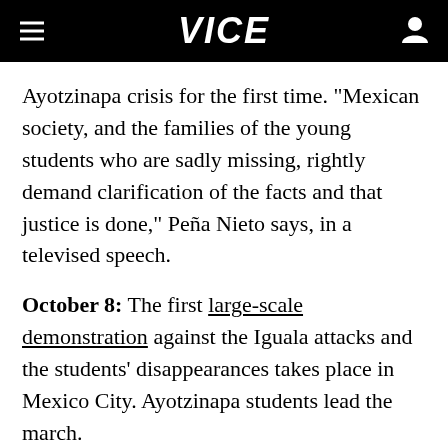VICE
Ayotzinapa crisis for the first time. "Mexican society, and the families of the young students who are sadly missing, rightly demand clarification of the facts and that justice is done," Peña Nieto says, in a televised speech.
October 8: The first large-scale demonstration against the Iguala attacks and the students' disappearances takes place in Mexico City. Ayotzinapa students lead the march.
Related: Suspected student massacre shows just how bad the lawlessness has gotten in Mexico.